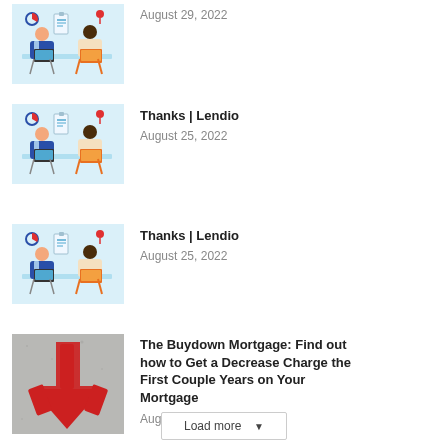[Figure (illustration): Illustration of two business people at a desk with laptops, office scene with charts and location pin]
August 29, 2022
[Figure (illustration): Illustration of two business people at a desk with laptops, office scene]
Thanks | Lendio
August 25, 2022
[Figure (illustration): Illustration of two business people at a desk with laptops, office scene]
Thanks | Lendio
August 25, 2022
[Figure (photo): Photo of a red painted arrow pointing down on a concrete/asphalt surface]
The Buydown Mortgage: Find out how to Get a Decrease Charge the First Couple Years on Your Mortgage
August 25, 2022